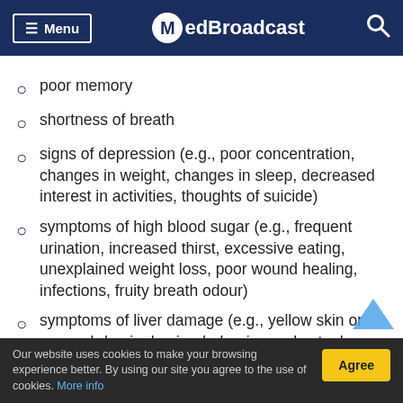Menu | MedBroadcast
poor memory
shortness of breath
signs of depression (e.g., poor concentration, changes in weight, changes in sleep, decreased interest in activities, thoughts of suicide)
symptoms of high blood sugar (e.g., frequent urination, increased thirst, excessive eating, unexplained weight loss, poor wound healing, infections, fruity breath odour)
symptoms of liver damage (e.g., yellow skin or eyes, abdominal pain, dark urine, pale stools, loss of
Our website uses cookies to make your browsing experience better. By using our site you agree to the use of cookies. More info | Agree